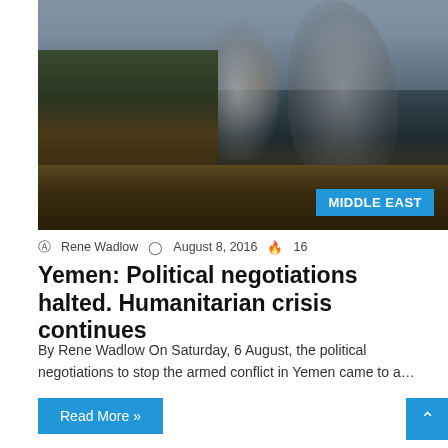[Figure (photo): Aerial/street view photo of Yemen conflict showing smoke rising over destroyed buildings with city skyline, overlaid with 'MIDDLE EAST' badge in blue]
Rene Wadlow  August 8, 2016  16
Yemen: Political negotiations halted. Humanitarian crisis continues
By Rene Wadlow On Saturday, 6 August, the political negotiations to stop the armed conflict in Yemen came to a...
Read More »